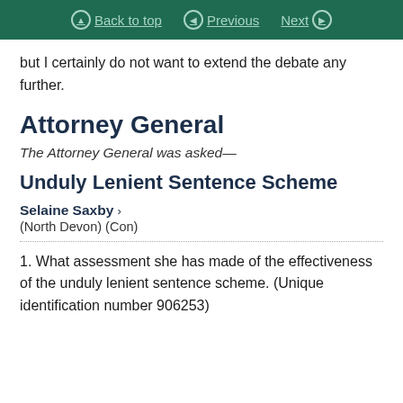Back to top  Previous  Next
but I certainly do not want to extend the debate any further.
Attorney General
The Attorney General was asked—
Unduly Lenient Sentence Scheme
Selaine Saxby ›
(North Devon) (Con)
1. What assessment she has made of the effectiveness of the unduly lenient sentence scheme. (Unique identification number 906253)